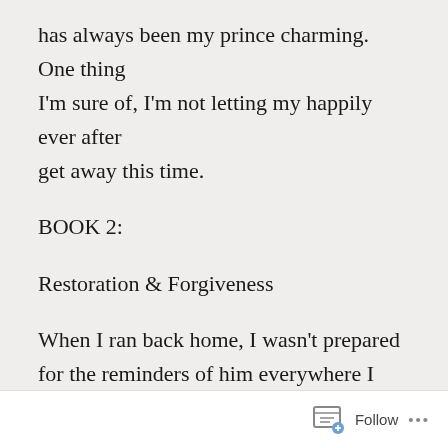has always been my prince charming. One thing I'm sure of, I'm not letting my happily ever after get away this time.
BOOK 2:
Restoration & Forgiveness
When I ran back home, I wasn't prepared for the reminders of him everywhere I turned. I certainly never expected Keegan to follow. I thought I made myself clear – we were through. I didn't want anything to do with him. But, he inserted himself back into my life, and there was nothing I could do.
Follow ···